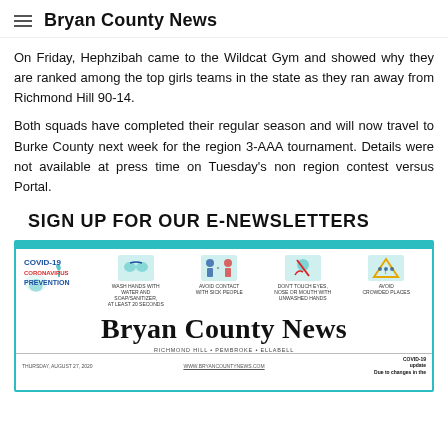Bryan County News
On Friday, Hephzibah came to the Wildcat Gym and showed why they are ranked among the top girls teams in the state as they ran away from Richmond Hill 90-14.
Both squads have completed their regular season and will now travel to Burke County next week for the region 3-AAA tournament. Details were not available at press time on Tuesday's non region contest versus Portal.
SIGN UP FOR OUR E-NEWSLETTERS
[Figure (infographic): Bryan County News newsletter signup image featuring COVID-19 prevention infographic at top and Bryan County News newspaper masthead below, dated Thursday August 27, 2020.]